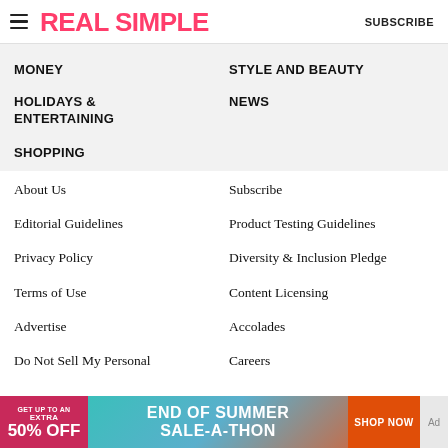REAL SIMPLE   SUBSCRIBE
MONEY
STYLE AND BEAUTY
HOLIDAYS & ENTERTAINING
NEWS
SHOPPING
About Us
Subscribe
Editorial Guidelines
Product Testing Guidelines
Privacy Policy
Diversity & Inclusion Pledge
Terms of Use
Content Licensing
Advertise
Accolades
Do Not Sell My Personal
Careers
[Figure (infographic): Advertisement banner: GET UP TO AN EXTRA 50% OFF | END OF SUMMER SALE-A-THON | SHOP NOW]